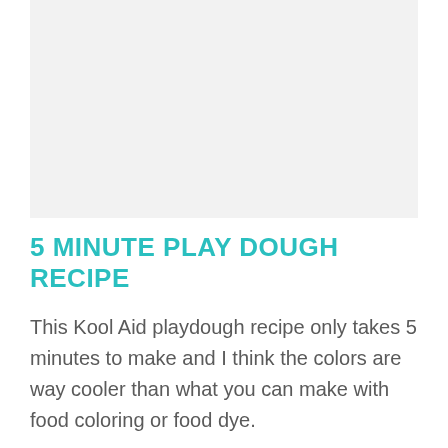[Figure (photo): Light gray placeholder image area at top of page]
5 MINUTE PLAY DOUGH RECIPE
This Kool Aid playdough recipe only takes 5 minutes to make and I think the colors are way cooler than what you can make with food coloring or food dye.
One of the reasons I really like to